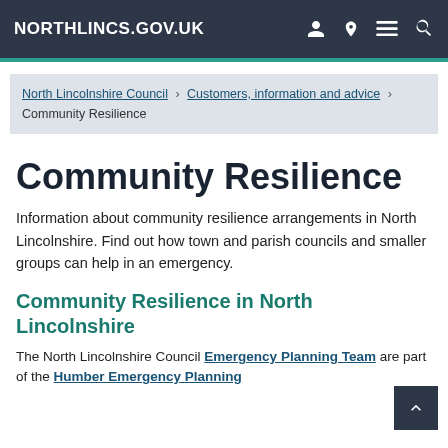NORTHLINCS.GOV.UK
North Lincolnshire Council › Customers, information and advice › Community Resilience
Community Resilience
Information about community resilience arrangements in North Lincolnshire. Find out how town and parish councils and smaller groups can help in an emergency.
Community Resilience in North Lincolnshire
The North Lincolnshire Council Emergency Planning Team are part of the Humber Emergency Planning